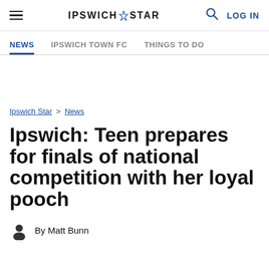IPSWICH STAR — NEWS | IPSWICH TOWN FC | THINGS TO DO — LOG IN
Ipswich Star > News
Ipswich: Teen prepares for finals of national competition with her loyal pooch
By Matt Bunn